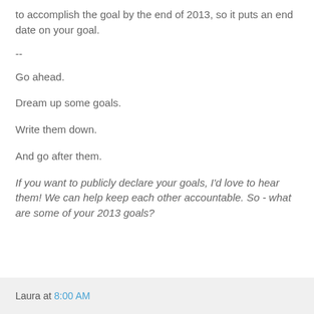to accomplish the goal by the end of 2013, so it puts an end date on your goal.
--
Go ahead.
Dream up some goals.
Write them down.
And go after them.
If you want to publicly declare your goals, I'd love to hear them! We can help keep each other accountable. So - what are some of your 2013 goals?
Laura at 8:00 AM